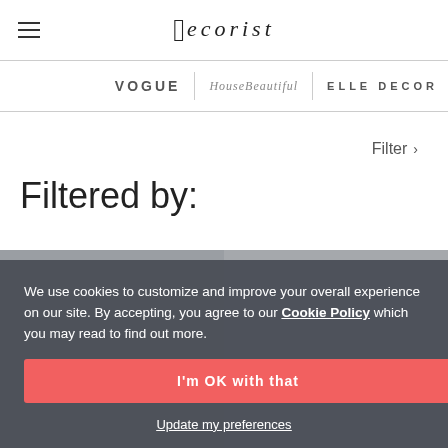decorist
[Figure (logo): Press logos: VOGUE, House Beautiful, ELLE DECOR]
Filter >
Filtered by:
[Figure (photo): Two room interior design photos side by side, partially obscured by cookie banner]
We use cookies to customize and improve your overall experience on our site. By accepting, you agree to our Cookie Policy which you may read to find out more.
I'm OK with that
Update my preferences